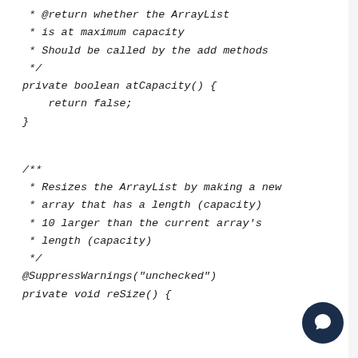* @return whether the ArrayList
 * is at maximum capacity
 * Should be called by the add methods
 */
private boolean atCapacity() {
    return false;
}
/**
 * Resizes the ArrayList by making a new
 * array that has a length (capacity)
 * 10 larger than the current array's
 * length (capacity)
 */
@SuppressWarnings("unchecked")
private void reSize() {